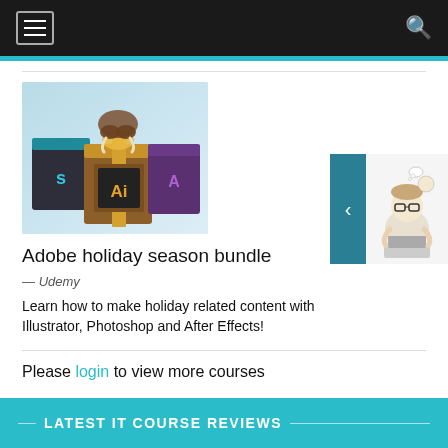Navigation bar with hamburger menu and search icon
[Figure (illustration): Adobe holiday season bundle promotional image showing gift boxes styled as Adobe product icons (Illustrator Ai, Photoshop, and others) with a mammoth figure on top]
Adobe holiday season bundle
— Udemy
Learn how to make holiday related content with Illustrator, Photoshop and After Effects!
[Figure (illustration): Sidebar card with teal arrow button and cartoon illustration of a person thinking at a laptop]
Please login to view more courses
LATEST IT COURSE REVIEWS